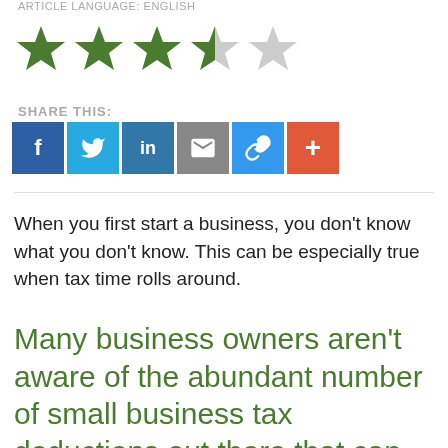ARTICLE LANGUAGE: English
[Figure (other): Star rating showing 3.5 out of 5 stars: three full green stars, one half green/grey star, one empty grey star]
SHARE THIS:
[Figure (infographic): Row of social share buttons: Facebook (blue), Twitter (light blue), LinkedIn (blue), Email (grey), Link (blue), Plus/More (orange-red)]
When you first start a business, you don't know what you don't know. This can be especially true when tax time rolls around.
Many business owners aren't aware of the abundant number of small business tax deductions out there that can